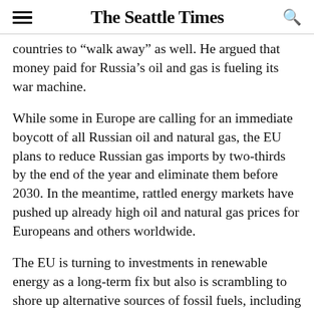The Seattle Times
countries to “walk away” as well. He argued that money paid for Russia’s oil and gas is fueling its war machine.
While some in Europe are calling for an immediate boycott of all Russian oil and natural gas, the EU plans to reduce Russian gas imports by two-thirds by the end of the year and eliminate them before 2030. In the meantime, rattled energy markets have pushed up already high oil and natural gas prices for Europeans and others worldwide.
The EU is turning to investments in renewable energy as a long-term fix but also is scrambling to shore up alternative sources of fossil fuels, including a new agreement with the U.S. to receive